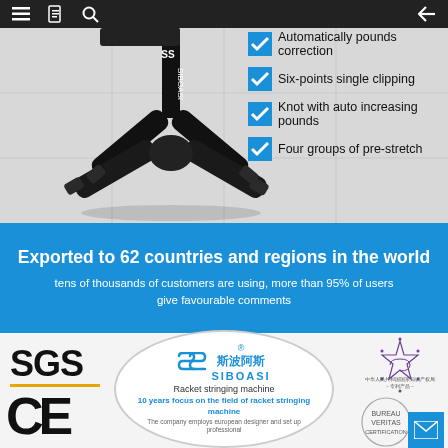Navigation bar with menu, document, search, and back icons
[Figure (photo): SIBOASI branded racket stringing machine black metal stand/base on grey tiled background]
Automatically pounds correction
Six-points single clipping
Knot with auto increasing pounds
Four groups of pre-stretch
Exported to 62 countries and regions in the world
tens of thousands of customers are using, more than 95% of users give favourable comments
[Figure (logo): SGS certification logo]
[Figure (logo): SIBOASI SS logo with Chinese text 斯波阿斯, circle badge: Racket stringing machine, 10 years focus on the field of racket stringing machine]
[Figure (logo): Chinese patent product certification badge]
[Figure (logo): CE certification mark]
[Figure (logo): Bureau Veritas or similar quality certification badge with partial teal background and mail icon]